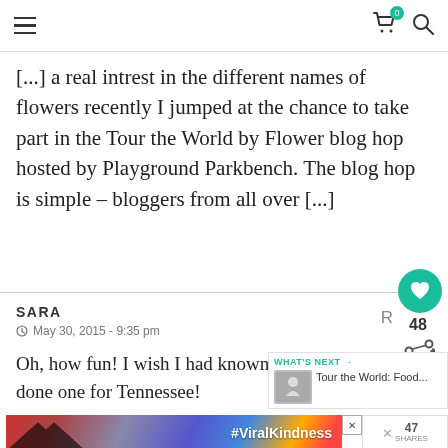Navigation header with hamburger menu, cart icon with badge 0, and search icon
[...] a real intrest in the different names of flowers recently I jumped at the chance to take part in the Tour the World by Flower blog hop hosted by Playground Parkbench. The blog hop is simple – bloggers from all over [...]
SARA
May 30, 2015 - 9:35 pm
Oh, how fun! I wish I had known about this would've done one for Tennessee!
[Figure (screenshot): What's Next promotional box showing 'Tour the World: Food...' with thumbnail]
[Figure (screenshot): Ad banner with #ViralKindness text and heart hands silhouette image]